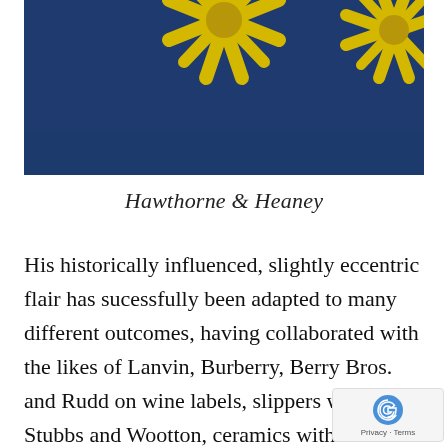[Figure (photo): Close-up photograph of dark blue fabric with yellow botanical/floral pattern prints, sunflower-like shapes visible against the navy background]
Hawthorne & Heaney
His historically influenced, slightly eccentric flair has sucessfully been adapted to many different outcomes, having collaborated with the likes of Lanvin, Burberry, Berry Bros. and Rudd on wine labels, slippers with Stubbs and Wootton, ceramics with Richard Ginori a…